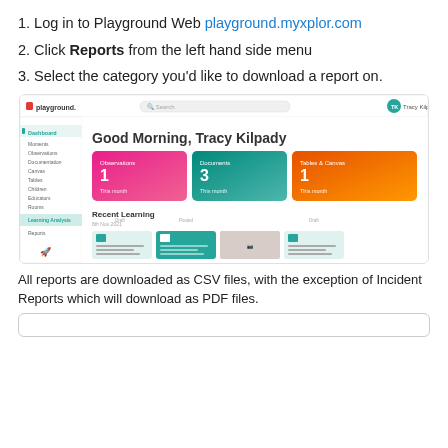1. Log in to Playground Web playground.myxplor.com
2. Click Reports from the left hand side menu
3. Select the category you'd like to download a report on.
[Figure (screenshot): Screenshot of Playground web dashboard showing Good Morning Tracy Kilpady with sidebar menu and dashboard tiles for Observations (1), Documents (3), Tables & Canvas (1) and Recent Learning section.]
All reports are downloaded as CSV files, with the exception of Incident Reports which will download as PDF files.